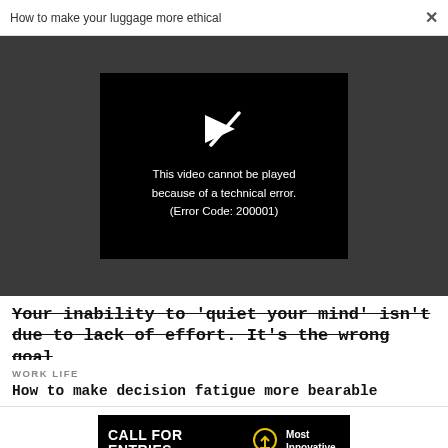How to make your luggage more ethical  ×
[Figure (screenshot): Video player showing error: 'This video cannot be played because of a technical error. (Error Code: 200001)' on a black background within a dark gray area.]
Your inability to 'quiet your mind' isn't due to lack of effort. It's the wrong goal
WORK LIFE
How to make decision fatigue more bearable
[Figure (infographic): Banner ad: CALL FOR ENTRIES DEADLINE: SEPTEMBER 23 with lightbulb icon and 'Most Innovative Companies' text on black background.]